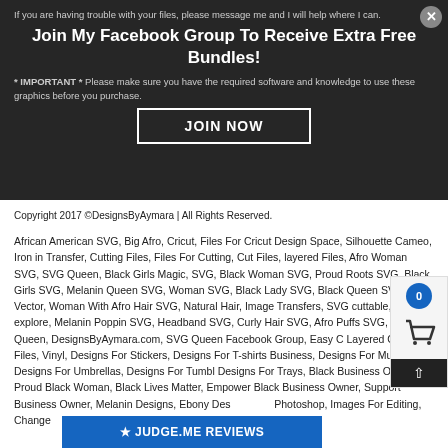If you are having trouble with your files, please message me and I will help where I can.
Join My Facebook Group To Receive Extra Free Bundles!
* IMPORTANT * Please make sure you have the required software and knowledge to use these graphics before you purchase.
JOIN NOW
Copyright 2017 ©DesignsByAymara | All Rights Reserved.
African American SVG, Big Afro, Cricut, Files For Cricut Design Space, Silhouette Cameo, Iron in Transfer, Cutting Files, Files For Cutting, Cut Files, layered Files, Afro Woman SVG, SVG Queen, Black Girls Magic, SVG, Black Woman SVG, Proud Roots SVG, Black Girls SVG, Melanin Queen SVG, Woman SVG, Black Lady SVG, Black Queen SVG afro Vector, Woman With Afro Hair SVG, Natural Hair, Image Transfers, SVG cuttable,  Cricut explore, Melanin Poppin SVG, Headband SVG, Curly Hair SVG, Afro Puffs SVG, Nubian Queen, DesignsByAymara.com, SVG Queen Facebook Group, Easy C Layered Cutting Files, Vinyl, Designs For Stickers, Designs For T-shirts Business, Designs For Mugs, Designs For Umbrellas, Designs For Tumbl Designs For Trays, Black Business Owner, Proud Black Woman, Black Lives Matter, Empower Black Business Owner, Support Business Owner, Melanin Designs, Ebony Des Photoshop, Images For Editing, Change oisance,Vectorales